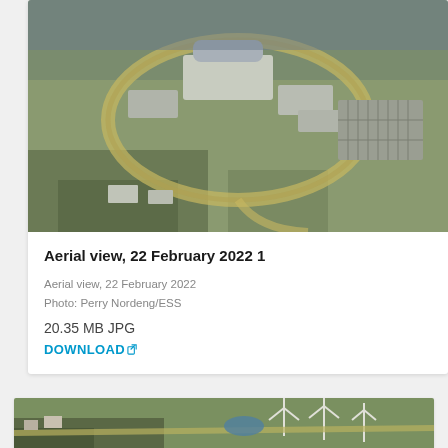[Figure (photo): Aerial photograph of a large scientific facility campus with a circular ring structure, several buildings, and a parking lot, surrounded by flat open fields. Taken on 22 February 2022.]
Aerial view, 22 February 2022 1
Aerial view, 22 February 2022
Photo: Perry Nordeng/ESS
20.35 MB JPG
DOWNLOAD
[Figure (photo): Aerial photograph showing flat agricultural landscape with wind turbines and a road, taken from above.]